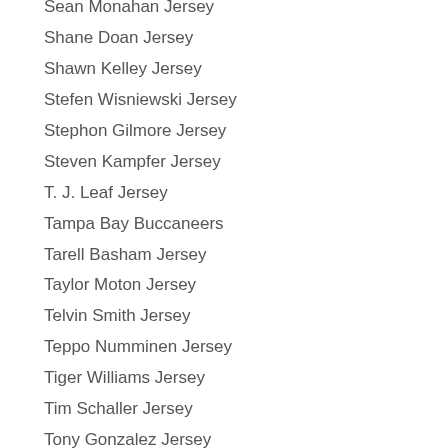Sean Monahan Jersey
Shane Doan Jersey
Shawn Kelley Jersey
Stefen Wisniewski Jersey
Stephon Gilmore Jersey
Steven Kampfer Jersey
T. J. Leaf Jersey
Tampa Bay Buccaneers
Tarell Basham Jersey
Taylor Moton Jersey
Telvin Smith Jersey
Teppo Numminen Jersey
Tiger Williams Jersey
Tim Schaller Jersey
Tony Gonzalez Jersey
Tracy Mcgrady Jersey
Trent Scott Jersey
Trenton Cannon Jersey
Trevor Booklet